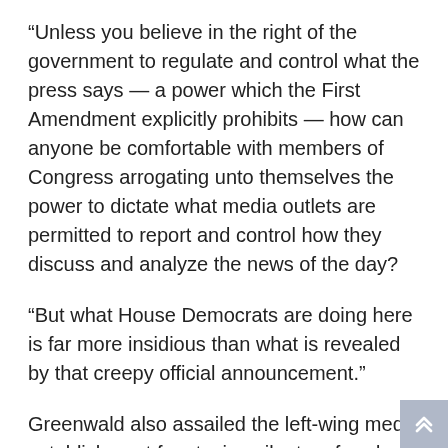“Unless you believe in the right of the government to regulate and control what the press says — a power which the First Amendment explicitly prohibits — how can anyone be comfortable with members of Congress arrogating unto themselves the power to dictate what media outlets are permitted to report and control how they discuss and analyze the news of the day?
“But what House Democrats are doing here is far more insidious than what is revealed by that creepy official announcement.”
Greenwald also assailed the left-wing media establishment for staying silent on freedom of the press after years of criticizing former President Donald Trump for allegedly putting it at risk.
“There is not a peep of protest from any liberal journalist,” Greenwald wrote. “Because of the same...